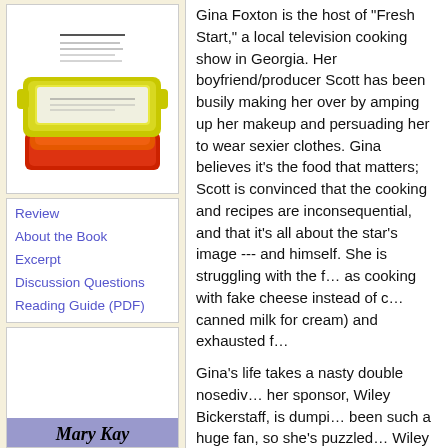[Figure (illustration): Book cover image showing yellow and orange baking dishes/casseroles stacked on a red surface, on a white background]
Review
About the Book
Excerpt
Discussion Questions
Reading Guide (PDF)
Gina Foxton is the host of "Fresh Start," a local television cooking show in Georgia. Her boyfriend/producer Scott has been busily making her over by amping up her makeup and persuading her to wear sexier clothes. Gina believes it's the food that matters; Scott is convinced that the cooking and recipes are inconsequential, and that it's all about the star's image --- and himself. She is struggling with the faux (as cooking with fake cheese instead of cream, canned milk for cream) and exhausted f
Gina's life takes a nasty double nosediv... her sponsor, Wiley Bickerstaff, is dumpi... been such a huge fan, so she's puzzled... Wiley is now refusing to sponsor "Fresh... sleeping with Wiley's wife. Gina is despe... is also soon-to-be completely unemploy... Will she have to (shudder) move back i... meantime, she must endure her colorfu...
Mary Kay